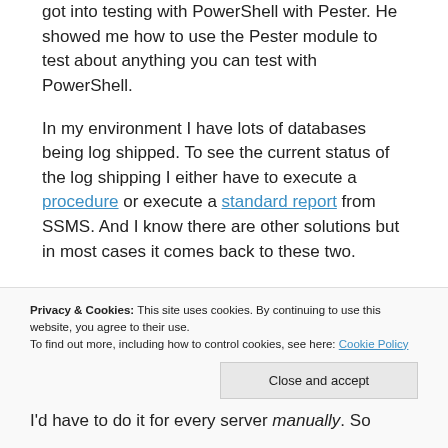got into testing with PowerShell with Pester. He showed me how to use the Pester module to test about anything you can test with PowerShell.
In my environment I have lots of databases being log shipped. To see the current status of the log shipping I either have to execute a procedure or execute a standard report from SSMS. And I know there are other solutions but in most cases it comes back to these two.
The procedure returns all the databases, the primary and the secondary with the values...
Privacy & Cookies: This site uses cookies. By continuing to use this website, you agree to their use.
To find out more, including how to control cookies, see here: Cookie Policy
I'd have to do it for every server manually. So